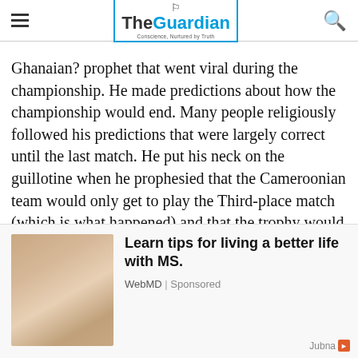The Guardian — Conscience, Nurtured by Truth
Ghanaian? prophet that went viral during the championship. He made predictions about how the championship would end. Many people religiously followed his predictions that were largely correct until the last match. He put his neck on the guillotine when he prophesied that the Cameroonian team would only get to play the Third-place match (which is what happened) and that the trophy would be won by a North African n.
[Figure (photo): Advertisement photo of a person, used for a WebMD sponsored ad about living with MS.]
Learn tips for living a better life with MS.
WebMD | Sponsored
Jubna